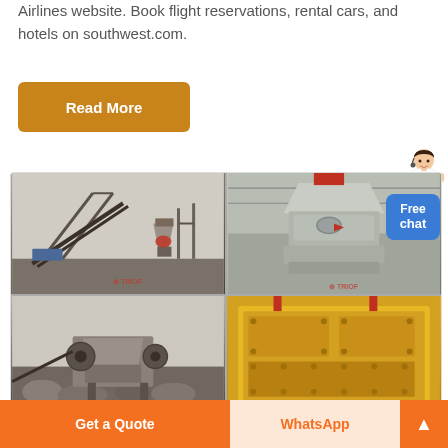Airlines website. Book flight reservations, rental cars, and hotels on southwest.com.
[Figure (illustration): Orange 'Read More' button]
[Figure (photo): Four-panel grid of industrial mining/crushing machinery photos with TRIOF watermark. Top-left: outdoor conveyor and crusher plant. Top-right: cone/VSI crusher machine indoors. Bottom-left: jaw crusher outdoor installation with rubble. Bottom-right: yellow impact crusher machine.]
[Figure (illustration): Blue 'Free chat' button overlay on top-right corner of image panel]
[Figure (illustration): Chat assistant person illustration in top-right area]
[Figure (illustration): Bottom bar with orange 'Get a Quote' button, light 'WhatsApp' button, and orange up-arrow button]